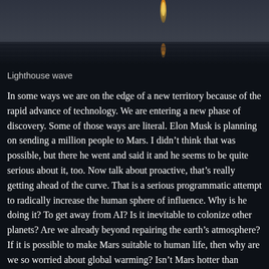[Figure (photo): Dark moody photo of a lighthouse or coastal scene with an orange flame/light reflection visible against a grey sky and water]
Lighthouse wave
In some ways we are on the edge of a new territory because of the rapid advance of technology. We are entering a new phase of discovery. Some of those ways are literal. Elon Musk is planning on sending a million people to Mars. I didn’t think that was possible, but there he went and said it and he seems to be quite serious about it, too. Now talk about proactive, that’s really getting ahead of the curve. That is a serious programmatic attempt to radically increase the human sphere of influence. Why is he doing it? To get away from AI? Is it inevitable to colonize other planets? Are we already beyond repairing the earth’s atmosphere? If it is possible to make Mars suitable to human life, then why are we so worried about global warming? Isn’t Mars hotter than anything we experience? Lots of questions